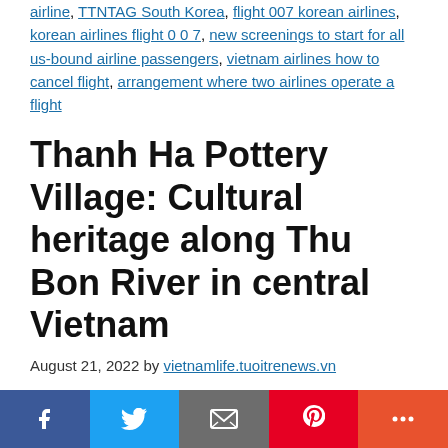airline, TTNTAG South Korea, flight 007 korean airlines, korean airlines flight 0 0 7, new screenings to start for all us-bound airline passengers, vietnam airlines how to cancel flight, arrangement where two airlines operate a flight
Thanh Ha Pottery Village: Cultural heritage along Thu Bon River in central Vietnam
August 21, 2022 by vietnamlife.tuoitrenews.vn
Locals in Quang Nam Province, central Vietnam have long called the Thu Bon River 'Mother
[Figure (infographic): Social media sharing bar with five buttons: Facebook (dark blue), Twitter (light blue), Email/envelope (grey), Pinterest (red), More/plus (orange-red)]